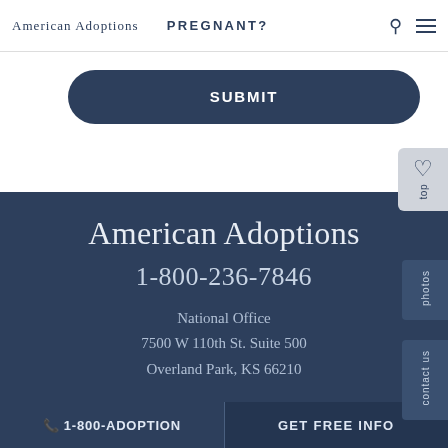American Adoptions   PREGNANT?
SUBMIT
American Adoptions
1-800-236-7846
National Office
7500 W 110th St. Suite 500
Overland Park, KS 66210
📞 1-800-ADOPTION   GET FREE INFO